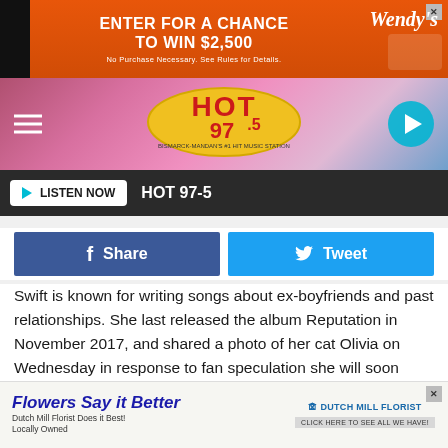[Figure (screenshot): Wendy's advertisement banner: orange background with text 'ENTER FOR A CHANCE TO WIN $2,500' and Wendy's logo. Subtext: 'No Purchase Necessary. See Rules for Details.']
[Figure (screenshot): HOT 97.5 radio station header with logo, hamburger menu icon, and play button. Pink/purple hex background. Station tagline: Bismarck-Mandan's #1 Hit Music Station.]
[Figure (screenshot): LISTEN NOW button bar with HOT 97-5 station name on dark background]
[Figure (screenshot): Facebook Share and Twitter Tweet social sharing buttons]
Swift is known for writing songs about ex-boyfriends and past relationships. She last released the album Reputation in November 2017, and shared a photo of her cat Olivia on Wednesday in response to fan speculation she will soon release a new album.
"She just read all the theories," the singer captioned the post.
By Annie Martin, UPI.com
[Figure (screenshot): Dutch Mill Florist advertisement: 'Flowers Say it Better' headline, Dutch Mill Florist logo, subtext 'Dutch Mill Florist Does it Best! Locally Owned', click button 'CLICK HERE TO SEE ALL WE HAVE!']